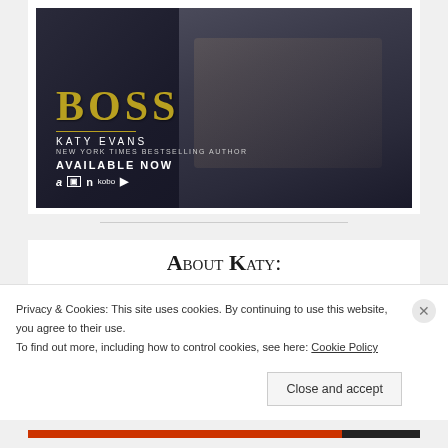[Figure (photo): Book cover for 'BOSS' by Katy Evans, New York Times Bestselling Author. Shows a man in a suit with his hand on his chin, with the title 'BOSS' in gold letters, 'KATY EVANS' below, 'NEW YORK TIMES BESTSELLING AUTHOR', 'AVAILABLE NOW' and retailer icons (Amazon, Audible, Nook, Kobo, audio).]
About Katy:
Privacy & Cookies: This site uses cookies. By continuing to use this website, you agree to their use.
To find out more, including how to control cookies, see here: Cookie Policy
Close and accept